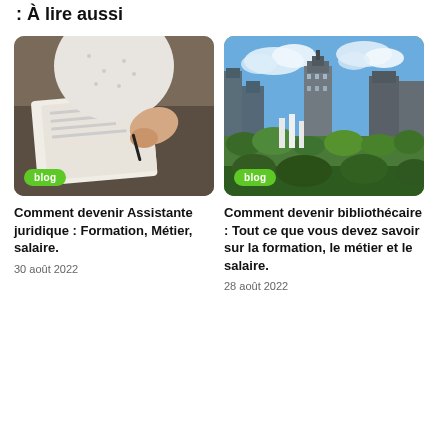À lire aussi
[Figure (photo): Person in white patterned blouse writing or signing documents at a desk, viewed from above/side angle. Green 'blog' badge overlay.]
[Figure (photo): Cityscape with buildings, green rooftop garden, blue sky with clouds. Green 'blog' badge overlay.]
Comment devenir Assistante juridique : Formation, Métier, salaire.
30 août 2022
Comment devenir bibliothécaire : Tout ce que vous devez savoir sur la formation, le métier et le salaire.
28 août 2022